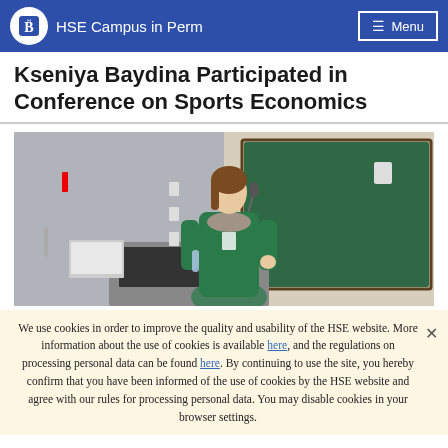HSE Campus in Perm | Menu
Kseniya Baydina Participated in Conference on Sports Economics
[Figure (photo): A woman in a green dress standing at a podium and speaking, with a green chalkboard in the background in a conference/lecture room setting.]
We use cookies in order to improve the quality and usability of the HSE website. More information about the use of cookies is available here, and the regulations on processing personal data can be found here. By continuing to use the site, you hereby confirm that you have been informed of the use of cookies by the HSE website and agree with our rules for processing personal data. You may disable cookies in your browser settings.